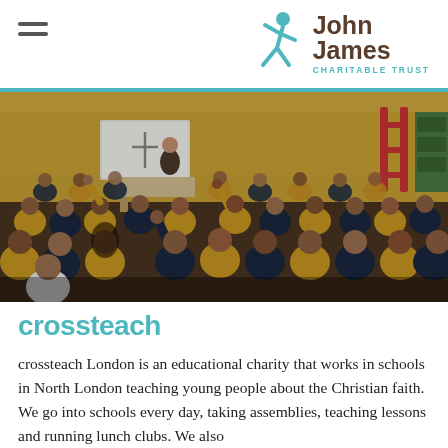John James Charitable Trust
[Figure (photo): A school assembly scene showing a large group of children in navy and yellow uniforms seated on a gym floor, with several raising their hands. A presenter stands at the front near a whiteboard. The room has yellow walls and various school equipment visible.]
crossteach
crossteach London is an educational charity that works in schools in North London teaching young people about the Christian faith. We go into schools every day, taking assemblies, teaching lessons and running lunch clubs. We also